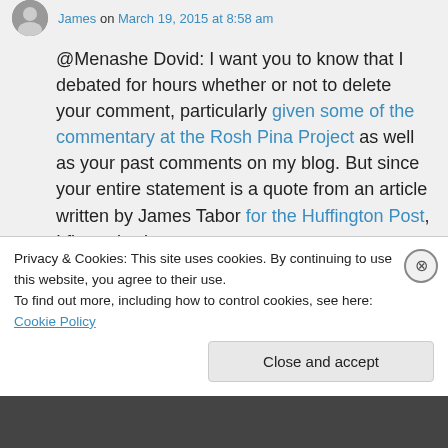James on March 19, 2015 at 8:58 am
@Menashe Dovid: I want you to know that I debated for hours whether or not to delete your comment, particularly given some of the commentary at the Rosh Pina Project as well as your past comments on my blog. But since your entire statement is a quote from an article written by James Tabor for the Huffington Post, I figured, why not.

That said, simply quoting from a Christian
Privacy & Cookies: This site uses cookies. By continuing to use this website, you agree to their use.
To find out more, including how to control cookies, see here: Cookie Policy
Close and accept